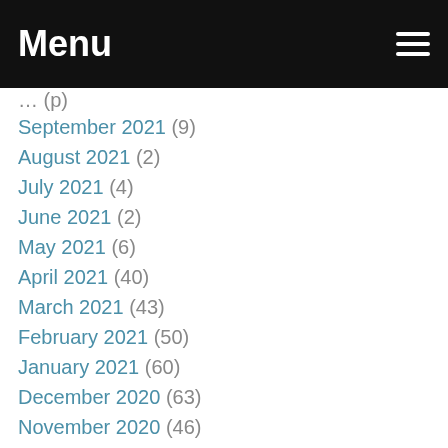Menu
September 2021 (9)
August 2021 (2)
July 2021 (4)
June 2021 (2)
May 2021 (6)
April 2021 (40)
March 2021 (43)
February 2021 (50)
January 2021 (60)
December 2020 (63)
November 2020 (46)
October 2020 (33)
September 2020 (26)
August 2020 (14)
July 2020 (24)
June 2020 (13)
May 2020 (47)
April 2020 (49)